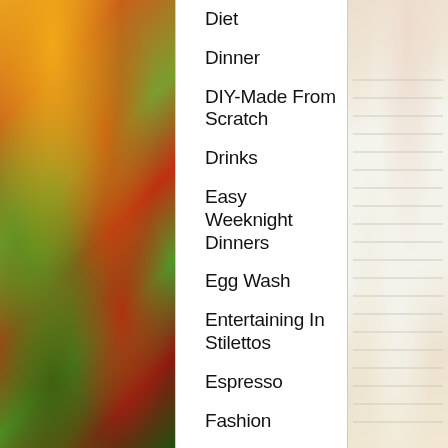Diet
Dinner
DIY-Made From Scratch
Drinks
Easy Weeknight Dinners
Egg Wash
Entertaining In Stilettos
Espresso
Fashion
Favorite Things
Fish Diet
Food
Food Network
Food transport
Giada de Laurentiis
Gift Ideas